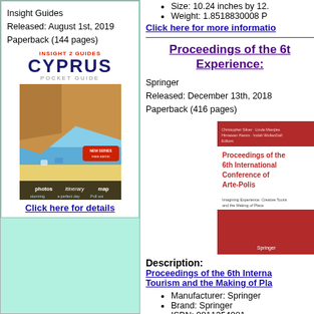Insight Guides
Released: August 1st, 2019
Paperback (144 pages)
[Figure (photo): Cyprus Pocket Guide book cover with beach scene photo]
Click here for details
Size: 10.24 inches by 12...
Weight: 1.8518830008 P...
Click here for more information
Proceedings of the 6th... Experience:
Springer
Released: December 13th, 2018
Paperback (416 pages)
[Figure (photo): Proceedings of the 6th International Conference of Arte-Polis book cover (red)]
Description:
Proceedings of the 6th Interna... Tourism and the Making of Pla...
Manufacturer: Springer
Brand: Springer
ISBN: 9811354081